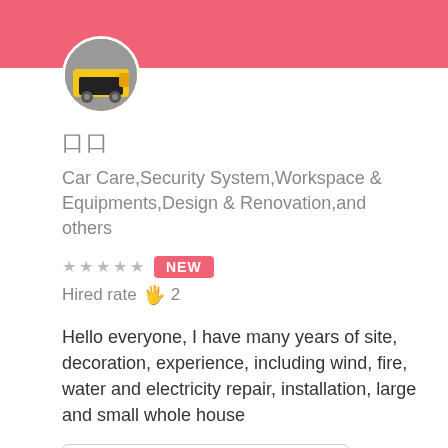[Figure (photo): Profile avatar photo showing a vehicle/truck in circular frame]
口口
Car Care,Security System,Workspace & Equipments,Design & Renovation,and others
★★★★★ NEW
Hired rate 🖐 2
Hello everyone, I have many years of site, decoration, experience, including wind, fire, water and electricity repair, installation, large and small whole house
Air Conditioner Installation and Repair
📍 Sheung Shui
[Figure (photo): Two side-by-side interior renovation photos showing bare concrete/plaster walls and ceiling]